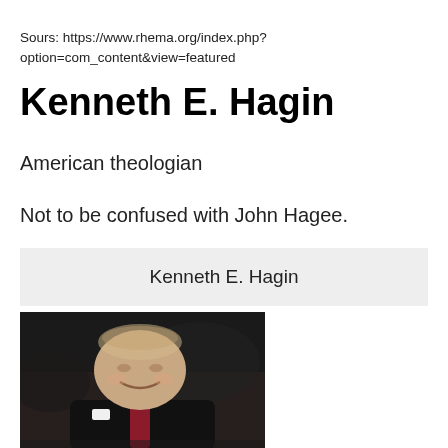Sours: https://www.rhema.org/index.php?option=com_content&view=featured
Kenneth E. Hagin
American theologian
Not to be confused with John Hagee.
Kenneth E. Hagin
[Figure (photo): Photograph of an elderly man in a black suit with a red tie and white pocket square, smiling, appearing to be at a podium or event.]